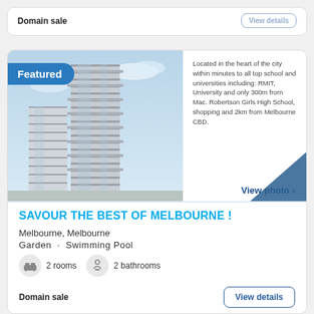Domain sale
[Figure (photo): Tall modern apartment building with balconies against a blue sky, labeled Featured]
Located in the heart of the city within minutes to all top school and universities including: RMIT, University and only 300m from Mac. Robertson Girls High School, shopping and 2km from Melbourne CBD.
View photo >
SAVOUR THE BEST OF MELBOURNE !
Melbourne, Melbourne
Garden · Swimming Pool
2 rooms
2 bathrooms
Domain sale